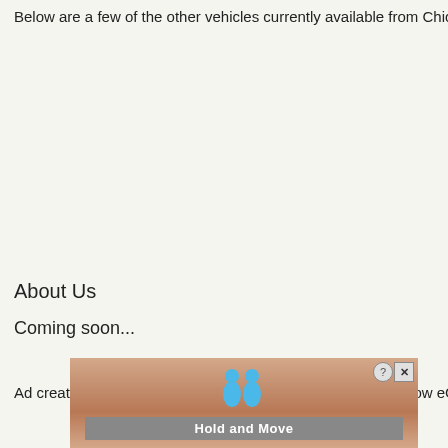Below are a few of the other vehicles currently available from Chica
About Us
Coming soon...
Ad created by eCarList.com. Call 214-722-8200 to find out how eCa
[Figure (illustration): Advertisement banner showing two blue cartoon figures and the text 'Hold and Move' on a brown/tan striped background with a close/help button in the top right corner.]